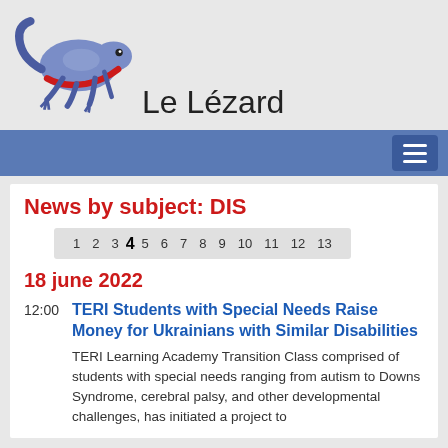[Figure (logo): Le Lézard salamander/lizard logo in blue and red]
Le Lézard
[Figure (other): Blue navigation bar with hamburger menu button]
News by subject: DIS
1 2 3 4 5 6 7 8 9 10 11 12 13
18 june 2022
12:00
TERI Students with Special Needs Raise Money for Ukrainians with Similar Disabilities
TERI Learning Academy Transition Class comprised of students with special needs ranging from autism to Downs Syndrome, cerebral palsy, and other developmental challenges, has initiated a project to